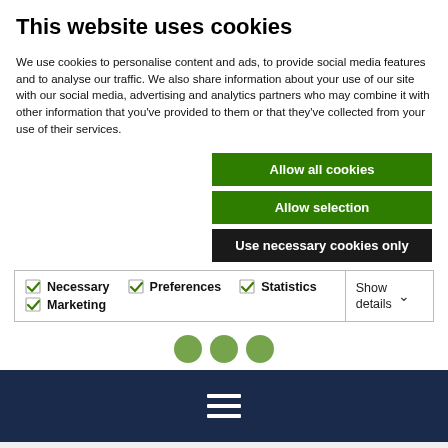This website uses cookies
We use cookies to personalise content and ads, to provide social media features and to analyse our traffic. We also share information about your use of our site with our social media, advertising and analytics partners who may combine it with other information that you've provided to them or that they've collected from your use of their services.
Allow all cookies
Allow selection
Use necessary cookies only
Necessary  Preferences  Statistics  Marketing  Show details
Home > Global
SAFEGUARDING YOUR BUSINESS